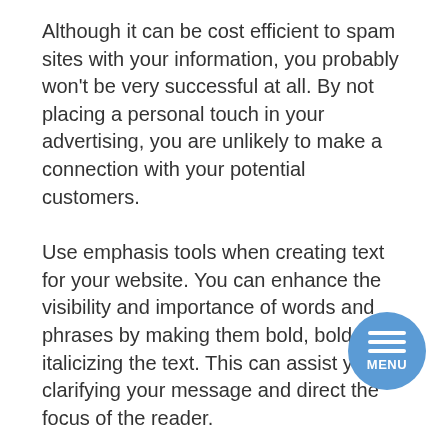Although it can be cost efficient to spam sites with your information, you probably won't be very successful at all. By not placing a personal touch in your advertising, you are unlikely to make a connection with your potential customers.
Use emphasis tools when creating text for your website. You can enhance the visibility and importance of words and phrases by making them bold, bold, or italicizing the text. This can assist you in clarifying your message and direct the focus of the reader.
Try to use banners on your website that are not obvious in looking like banners. Try to create them appear to be clickable links that are click-able if the user wants to see more content. Many people do not click banners, so this can entice them.
Try adjusting content and content delivery so that